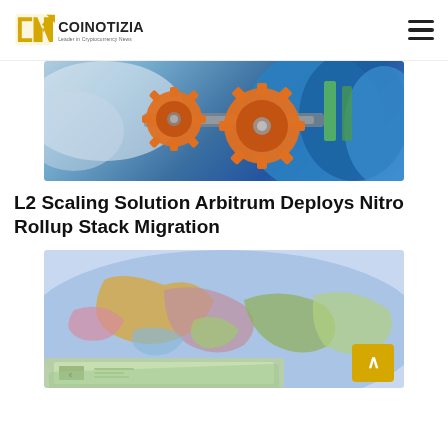COINOTIZIA - Leader in Cryptocurrency News
[Figure (photo): Close-up photo of orange gear/cog connectors on machinery with blue industrial cylinders in background]
L2 Scaling Solution Arbitrum Deploys Nitro Rollup Stack Migration
[Figure (photo): Close-up photo of a colorful physical world map with European continent visible, with euro banknotes visible at bottom]